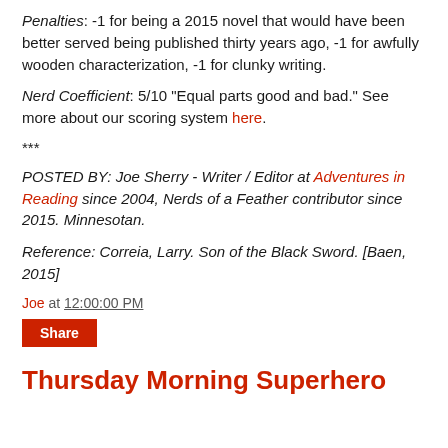Penalties: -1 for being a 2015 novel that would have been better served being published thirty years ago, -1 for awfully wooden characterization, -1 for clunky writing.
Nerd Coefficient: 5/10 "Equal parts good and bad." See more about our scoring system here.
***
POSTED BY: Joe Sherry - Writer / Editor at Adventures in Reading since 2004, Nerds of a Feather contributor since 2015. Minnesotan.
Reference: Correia, Larry. Son of the Black Sword. [Baen, 2015]
Joe at 12:00:00 PM
Share
Thursday Morning Superhero